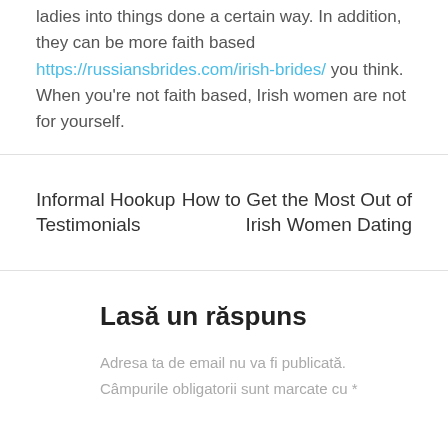ladies into things done a certain way. In addition, they can be more faith based https://russiansbrides.com/irish-brides/ you think. When you're not faith based, Irish women are not for yourself.
Informal Hookup Testimonials
How to Get the Most Out of Irish Women Dating
Lasă un răspuns
Adresa ta de email nu va fi publicată. Câmpurile obligatorii sunt marcate cu *